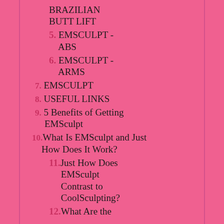BRAZILIAN BUTT LIFT
5. EMSCULPT - ABS
6. EMSCULPT - ARMS
7. EMSCULPT
8. USEFUL LINKS
9. 5 Benefits of Getting EMSculpt
10. What Is EMSculpt and Just How Does It Work?
11. Just How Does EMSculpt Contrast to CoolSculpting?
12. What Are the